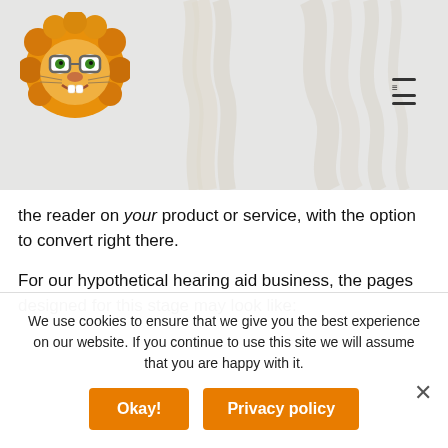[Figure (photo): Header background showing braided white/cream wheat or rope texture on a light gray background]
[Figure (logo): Cartoon lion head wearing glasses, colorful illustration logo]
[Figure (other): Hamburger menu icon (three horizontal lines with a small icon) in dark color on the right side of the header]
the reader on your product or service, with the option to convert right there.
For our hypothetical hearing aid business, the pages designed for this stage may look like:
We use cookies to ensure that we give you the best experience on our website. If you continue to use this site we will assume that you are happy with it.